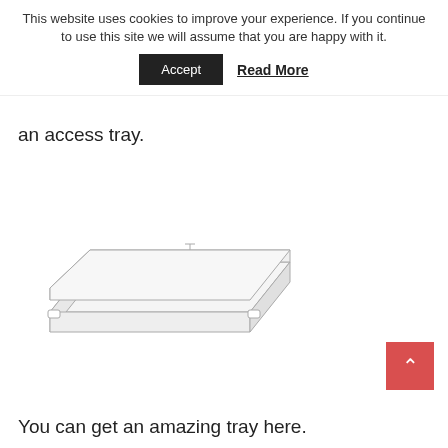This website uses cookies to improve your experience. If you continue to use this site we will assume that you are happy with it.
Accept   Read More
an access tray.
[Figure (illustration): Line drawing illustration of a clear acrylic rectangular access tray shown in perspective view.]
You can get an amazing tray here.